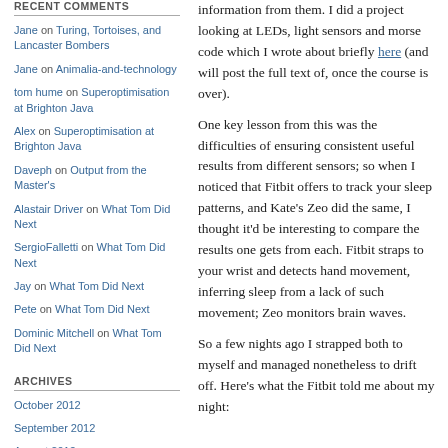RECENT COMMENTS
Jane on Turing, Tortoises, and Lancaster Bombers
Jane on Animalia-and-technology
tom hume on Superoptimisation at Brighton Java
Alex on Superoptimisation at Brighton Java
Daveph on Output from the Master's
Alastair Driver on What Tom Did Next
SergioFalletti on What Tom Did Next
Jay on What Tom Did Next
Pete on What Tom Did Next
Dominic Mitchell on What Tom Did Next
ARCHIVES
October 2012
September 2012
August 2012
information from them. I did a project looking at LEDs, light sensors and morse code which I wrote about briefly here (and will post the full text of, once the course is over).
One key lesson from this was the difficulties of ensuring consistent useful results from different sensors; so when I noticed that Fitbit offers to track your sleep patterns, and Kate's Zeo did the same, I thought it'd be interesting to compare the results one gets from each. Fitbit straps to your wrist and detects hand movement, inferring sleep from a lack of such movement; Zeo monitors brain waves.
So a few nights ago I strapped both to myself and managed nonetheless to drift off. Here's what the Fitbit told me about my night: